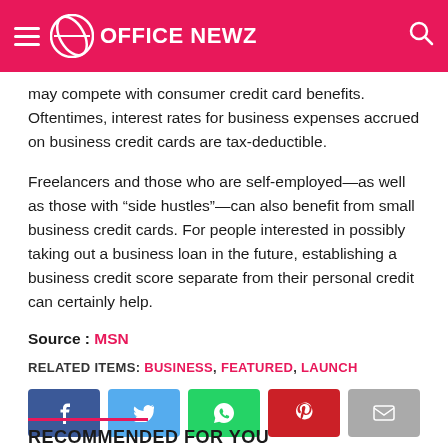OFFICE NEWZ
may compete with consumer credit card benefits. Oftentimes, interest rates for business expenses accrued on business credit cards are tax-deductible.
Freelancers and those who are self-employed—as well as those with “side hustles”—can also benefit from small business credit cards. For people interested in possibly taking out a business loan in the future, establishing a business credit score separate from their personal credit can certainly help.
Source : MSN
RELATED ITEMS: BUSINESS, FEATURED, LAUNCH
[Figure (infographic): Social sharing buttons: Facebook, Twitter, WhatsApp, Pinterest, Email]
RECOMMENDED FOR YOU